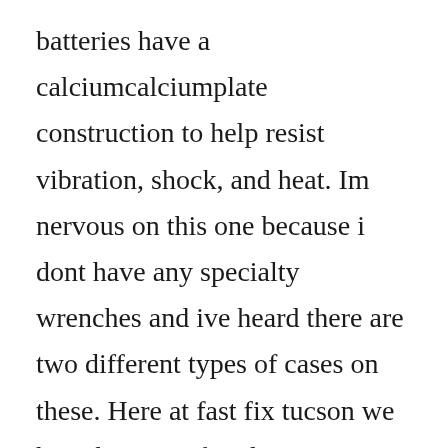batteries have a calciumcalciumplate construction to help resist vibration, shock, and heat. Im nervous on this one because i dont have any specialty wrenches and ive heard there are two different types of cases on these. Here at fast fix tucson we have batteries for almost every brand of watch. Antique and vintage wittnauer wristwatches collectors weekly. You just need to take your time, and have a few proper tools. The battery identification number may be specified there. Make sure to place the battery in the proper orientation by checking the positive and